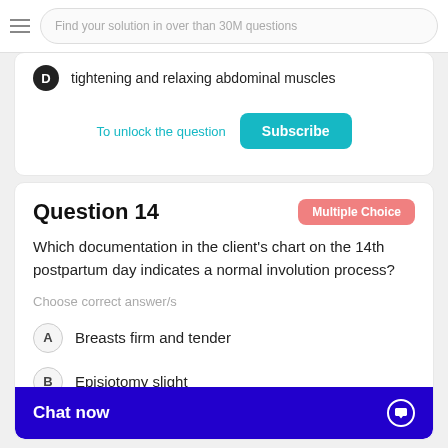Find your solution in over than 30M questions
D  tightening and relaxing abdominal muscles
To unlock the question   Subscribe
Question 14
Multiple Choice
Which documentation in the client's chart on the 14th postpartum day indicates a normal involution process?
Choose correct answer/s
A  Breasts firm and tender
B  Episiotomy slight
Chat now